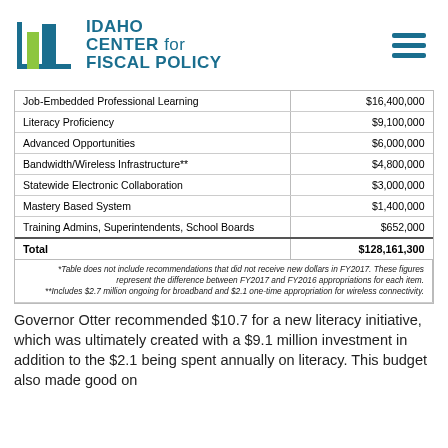[Figure (logo): Idaho Center for Fiscal Policy logo with teal and green bar chart graphic and bold teal text]
| Job-Embedded Professional Learning | $16,400,000 |
| Literacy Proficiency | $9,100,000 |
| Advanced Opportunities | $6,000,000 |
| Bandwidth/Wireless Infrastructure** | $4,800,000 |
| Statewide Electronic Collaboration | $3,000,000 |
| Mastery Based System | $1,400,000 |
| Training Admins, Superintendents, School Boards | $652,000 |
| Total | $128,161,300 |
*Table does not include recommendations that did not receive new dollars in FY2017. These figures represent the difference between FY2017 and FY2016 appropriations for each item. **Includes $2.7 million ongoing for broadband and $2.1 one-time appropriation for wireless connectivity.
Governor Otter recommended $10.7 for a new literacy initiative, which was ultimately created with a $9.1 million investment in addition to the $2.1 being spent annually on literacy. This budget also made good on